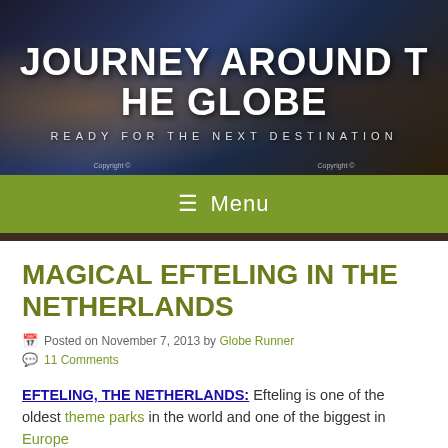[Figure (screenshot): Travel blog header banner showing 'JOURNEY AROUND THE GLOBE' in large white bold text with subtitle 'READY FOR THE NEXT DESTINATION', dark blue and brown night cityscape background with fountain and illuminated building]
☰ Menu
MAGICAL EFTELING IN THE NETHERLANDS
Posted on November 7, 2013 by Globe Runner
11 Comments
EFTELING, THE NETHERLANDS: Efteling is one of the oldest theme parks in the world and one of the biggest in Europe